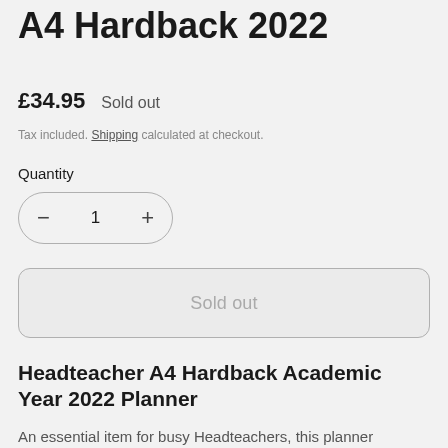A4 Hardback 2022
£34.95   Sold out
Tax included. Shipping calculated at checkout.
Quantity
− 1 +
Sold out
Headteacher A4 Hardback Academic Year 2022 Planner
An essential item for busy Headteachers, this planner